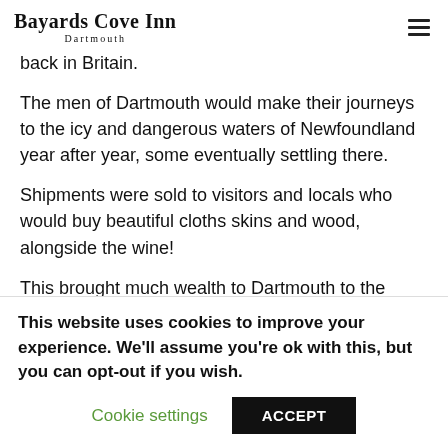Bayards Cove Inn Dartmouth
back in Britain.
The men of Dartmouth would make their journeys to the icy and dangerous waters of Newfoundland year after year, some eventually settling there.
Shipments were sold to visitors and locals who would buy beautiful cloths skins and wood, alongside the wine!
This brought much wealth to Dartmouth to the benefit of the merchants in the town, including those who lived in Bayards
This website uses cookies to improve your experience. We'll assume you're ok with this, but you can opt-out if you wish.
Cookie settings
ACCEPT